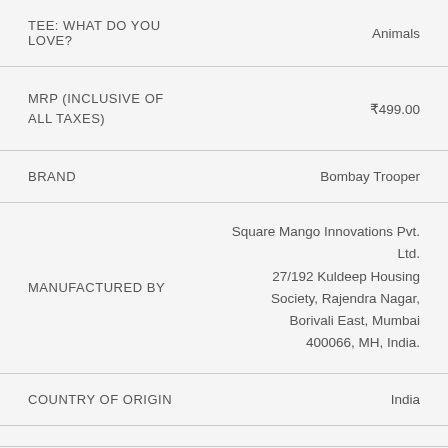| TEE: WHAT DO YOU LOVE? | Animals |
| MRP (INCLUSIVE OF ALL TAXES) | ₹499.00 |
| BRAND | Bombay Trooper |
| MANUFACTURED BY | Square Mango Innovations Pvt. Ltd. 27/192 Kuldeep Housing Society, Rajendra Nagar, Borivali East, Mumbai 400066, MH, India. |
| COUNTRY OF ORIGIN | India |